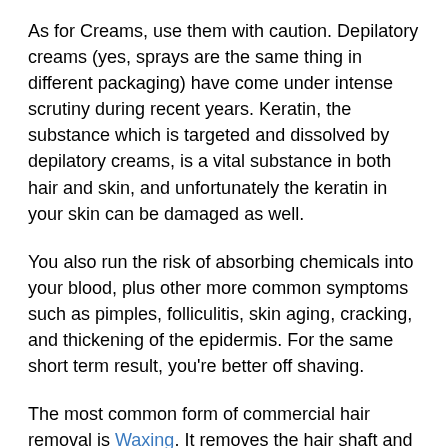As for Creams, use them with caution. Depilatory creams (yes, sprays are the same thing in different packaging) have come under intense scrutiny during recent years. Keratin, the substance which is targeted and dissolved by depilatory creams, is a vital substance in both hair and skin, and unfortunately the keratin in your skin can be damaged as well.
You also run the risk of absorbing chemicals into your blood, plus other more common symptoms such as pimples, folliculitis, skin aging, cracking, and thickening of the epidermis. For the same short term result, you're better off shaving.
The most common form of commercial hair removal is Waxing. It removes the hair shaft and root, but unlike electrolysis and laser, waxing leaves the hair bulb intact. New hair will usually regrow in 4-6 weeks but comes back finer after each treatment.